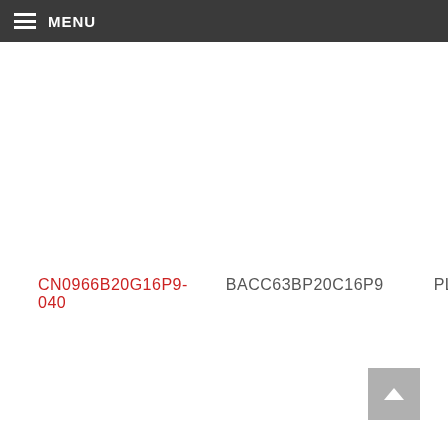MENU
CN0966B20G16P9-040   BACC63BP20C16P9   PLUG